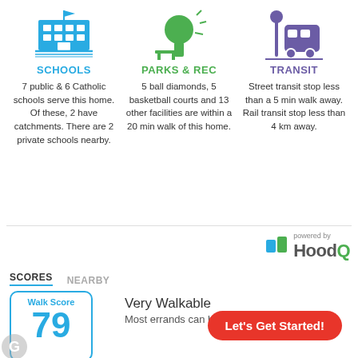[Figure (infographic): Schools icon: blue building with flag]
SCHOOLS
7 public & 6 Catholic schools serve this home. Of these, 2 have catchments. There are 2 private schools nearby.
[Figure (infographic): Parks & Rec icon: green tree with bench]
PARKS & REC
5 ball diamonds, 5 basketball courts and 13 other facilities are within a 20 min walk of this home.
[Figure (infographic): Transit icon: purple bus at stop]
TRANSIT
Street transit stop less than a 5 min walk away. Rail transit stop less than 4 km away.
[Figure (logo): HoodQ logo with 'powered by' text]
SCORES   NEARBY
[Figure (infographic): Walk Score badge showing 79]
Very Walkable
Most errands can be a...
Let's Get Started!